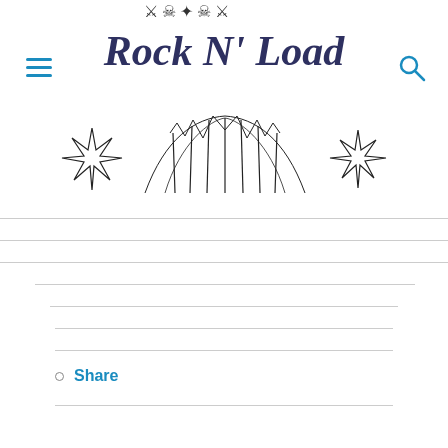Rock N' Load
[Figure (logo): Rock N Load website header logo with decorative gothic/skull imagery at top and stylized 'Rock N' Load' text in dark navy serif font, flanked by hamburger menu icon on left and search icon on right]
[Figure (illustration): Black and white illustration of band logo or artwork featuring spiky star/cross shapes and feathered or flame-like elements in the center, resembling a metal band logo]
Share